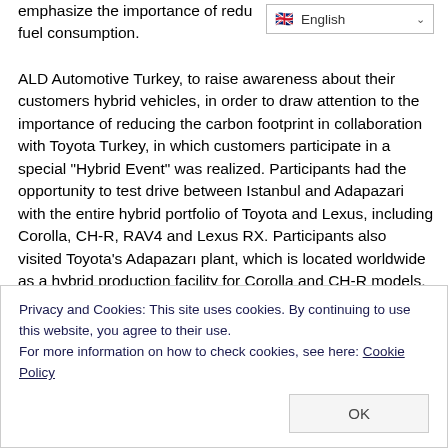emphasize the importance of reducing fuel consumption.
ALD Automotive Turkey, to raise awareness about their customers hybrid vehicles, in order to draw attention to the importance of reducing the carbon footprint in collaboration with Toyota Turkey, in which customers participate in a special "Hybrid Event" was realized. Participants had the opportunity to test drive between Istanbul and Adapazari with the entire hybrid portfolio of Toyota and Lexus, including Corolla, CH-R, RAV4 and Lexus RX. Participants also visited Toyota's Adapazarı plant, which is located worldwide as a hybrid production facility for Corolla and CH-R models, and received
Privacy and Cookies: This site uses cookies. By continuing to use this website, you agree to their use.
For more information on how to check cookies, see here: Cookie Policy